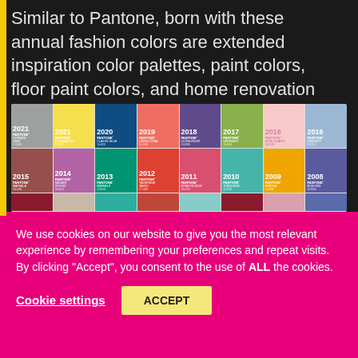Similar to Pantone, born with these annual fashion colors are extended inspiration color palettes, paint colors, floor paint colors, and home renovation guidelines.
[Figure (infographic): Grid of Pantone color swatches for years 2008-2021 showing the annual Pantone Colors of the Year including: 2021 Ultimate Gray, 2021 Illuminating, 2020 Classic Blue, 2019 Living Coral, 2018 Ultra Violet, 2017 Greenery, 2016 Rose Quartz, 2016 Serenity, 2015 Marsala, 2014 Radiant Orchid, 2013 Emerald, 2012 Tangerine Tango, 2011 Honeysuckle, 2010 Turquoise, 2009 Mimosa, 2008 Blue Iris]
We use cookies on our website to give you the most relevant experience by remembering your preferences and repeat visits. By clicking “Accept”, you consent to the use of ALL the cookies.
Cookie settings
ACCEPT